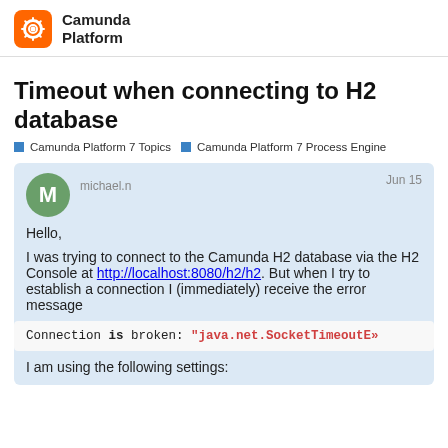Camunda Platform
Timeout when connecting to H2 database
Camunda Platform 7 Topics  Camunda Platform 7 Process Engine
michael.n  Jun 15
Hello,
I was trying to connect to the Camunda H2 database via the H2 Console at http://localhost:8080/h2/h2. But when I try to establish a connection I (immediately) receive the error message
Connection is broken: "java.net.SocketTimeoutE»
I am using the following settings: